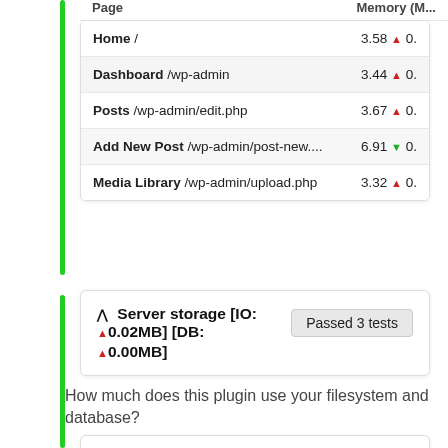| Page | Memory (M... |
| --- | --- |
| Home / | 3.58 ▲ 0. |
| Dashboard /wp-admin | 3.44 ▲ 0. |
| Posts /wp-admin/edit.php | 3.67 ▲ 0. |
| Add New Post /wp-admin/post-new.... | 6.91 ▼ 0. |
| Media Library /wp-admin/upload.php | 3.32 ▲ 0. |
^ Server storage [IO: ▲0.02MB] [DB: ▲0.00MB]   Passed 3 tests
How much does this plugin use your filesystem and database?